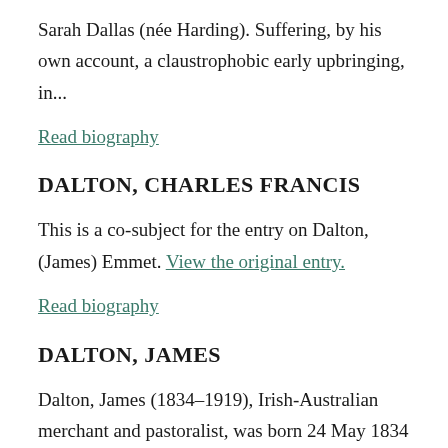Sarah Dallas (née Harding). Suffering, by his own account, a claustrophobic early upbringing, in...
Read biography
DALTON, CHARLES FRANCIS
This is a co-subject for the entry on Dalton, (James) Emmet. View the original entry.
Read biography
DALTON, JAMES
Dalton, James (1834–1919), Irish-Australian merchant and pastoralist, was born 24 May 1834 at Duntryleague, Co. Limerick, third child of